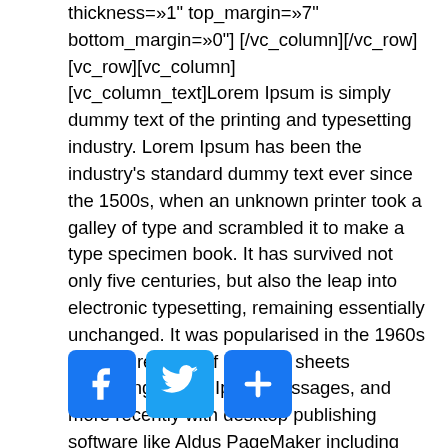thickness=»1" top_margin=»7" bottom_margin=»0"] [/vc_column][/vc_row][vc_row][vc_column] [vc_column_text]Lorem Ipsum is simply dummy text of the printing and typesetting industry. Lorem Ipsum has been the industry's standard dummy text ever since the 1500s, when an unknown printer took a galley of type and scrambled it to make a type specimen book. It has survived not only five centuries, but also the leap into electronic typesetting, remaining essentially unchanged. It was popularised in the 1960s with the release of Letraset sheets containing Lorem Ipsum passages, and more recently with desktop publishing software like Aldus PageMaker including versions of Lorem Ipsum. [/vc_column_text][/vc_column][/vc_row]
[Figure (infographic): Three social sharing buttons: Facebook (blue with f logo), Twitter (blue with bird logo), and a share button (blue with plus logo)]